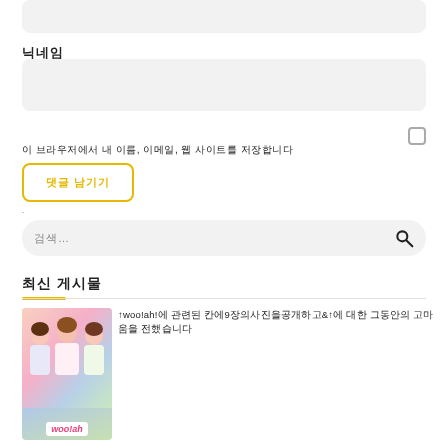[Figure (screenshot): Gray rounded rectangle input/display box at top]
닉네임
[Figure (screenshot): Gray rounded rectangle input box]
[Figure (screenshot): Checkbox (unchecked square)]
이 브라우저에서 내 이름, 이메일, 웹 사이트를 저장합니다
[Figure (screenshot): Yellow-bordered button with Korean text 댓글 남기기]
[Figure (screenshot): Search bar with placeholder text 검색 and magnifying glass icon]
최신 게시물
[Figure (photo): Photo of three young women in pastel outfits with woo!ah text overlay]
↑woo!ah!에 관련된 칸에9장의사진을공개하고&↑에 대한 그동안의 고마움을 전했습니다